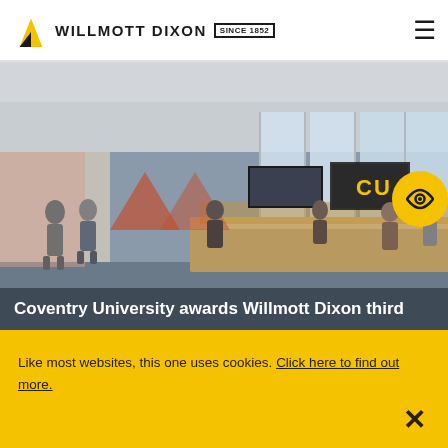WILLMOTT DIXON SINCE 1852
[Figure (screenshot): Interior rendering of Coventry University building lobby. Students walk through a modern reception area with large windows, wooden panelling, and CU signage on the wall behind a reception desk.]
Coventry University awards Willmott Dixon third
Like most websites, this one uses cookies. Click here to find out more.